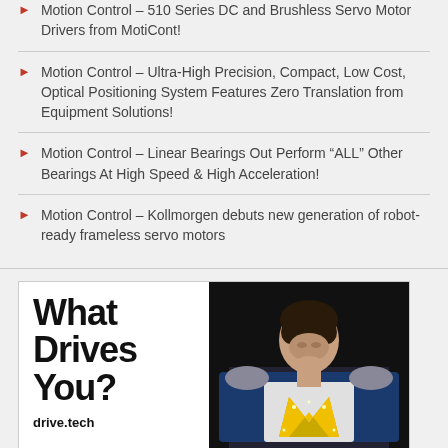Motion Control – 510 Series DC and Brushless Servo Motor Drivers from MotiCont!
Motion Control – Ultra-High Precision, Compact, Low Cost, Optical Positioning System Features Zero Translation from Equipment Solutions!
Motion Control – Linear Bearings Out Perform “ALL” Other Bearings At High Speed & High Acceleration!
Motion Control – Kollmorgen debuts new generation of robot-ready frameless servo motors
[Figure (photo): Advertisement for drive.tech showing text 'What Drives You?' on the left and a man in a superhero-like sports costume on a dark background on the right, with the URL drive.tech below the text.]